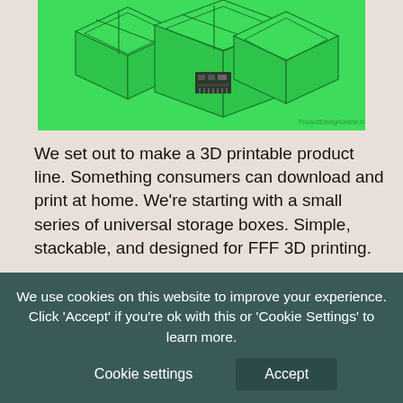[Figure (illustration): Green isometric illustration of stackable storage boxes on a green background. A small circuit board is visible inside one open box. Watermark text reads 'ProductDesignOnline.com/creator' in bottom right.]
We set out to make a 3D printable product line. Something consumers can download and print at home. We're starting with a small series of universal storage boxes. Simple, stackable, and designed for FFF 3D printing.
Today, we invite you to test our MLP (minimum lovable product). Consider this version one. We understand this version is not
We use cookies on this website to improve your experience. Click 'Accept' if you're ok with this or 'Cookie Settings' to learn more.
Cookie settings
Accept